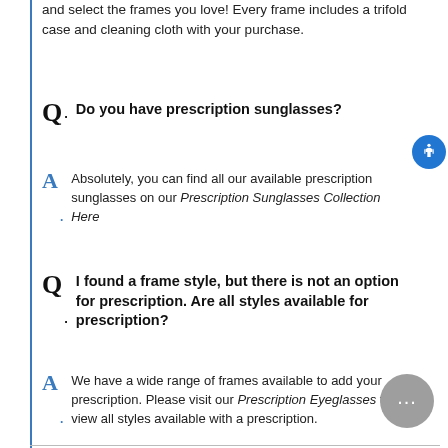and select the frames you love! Every frame includes a trifold case and cleaning cloth with your purchase.
Q. Do you have prescription sunglasses?
A. Absolutely, you can find all our available prescription sunglasses on our Prescription Sunglasses Collection Here
Q. I found a frame style, but there is not an option for prescription. Are all styles available for prescription?
A. We have a wide range of frames available to add your prescription. Please visit our Prescription Eyeglasses to view all styles available with a prescription.